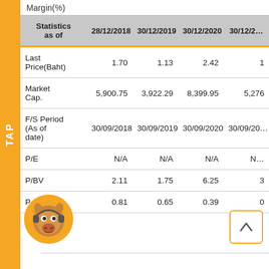Margin(%)
| Statistics as of | 28/12/2018 | 30/12/2019 | 30/12/2020 | 30/12/2… |
| --- | --- | --- | --- | --- |
| Last Price(Baht) | 1.70 | 1.13 | 2.42 | 1… |
| Market Cap. | 5,900.75 | 3,922.29 | 8,399.95 | 5,276… |
| F/S Period (As of date) | 30/09/2018 | 30/09/2019 | 30/09/2020 | 30/09/20… |
| P/E | N/A | N/A | N/A | N… |
| P/BV | 2.11 | 1.75 | 6.25 | 3… |
| P… | 0.81 | 0.65 | 0.39 | 0… |